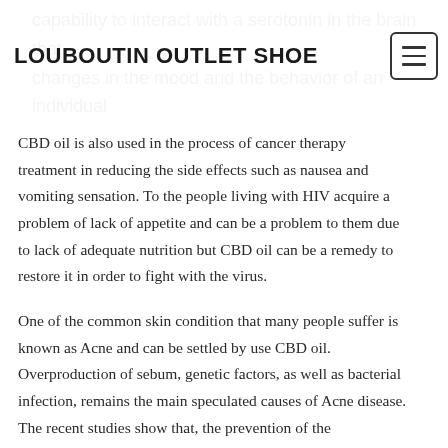LOUBOUTIN OUTLET SHOE
capability to interact with a serotonin in the brain that changes in the mood and the behavior of an individual
CBD oil is also used in the process of cancer therapy treatment in reducing the side effects such as nausea and vomiting sensation. To the people living with HIV acquire a problem of lack of appetite and can be a problem to them due to lack of adequate nutrition but CBD oil can be a remedy to restore it in order to fight with the virus.
One of the common skin condition that many people suffer is known as Acne and can be settled by use CBD oil. Overproduction of sebum, genetic factors, as well as bacterial infection, remains the main speculated causes of Acne disease. The recent studies show that, the prevention of the inflammation as well as the